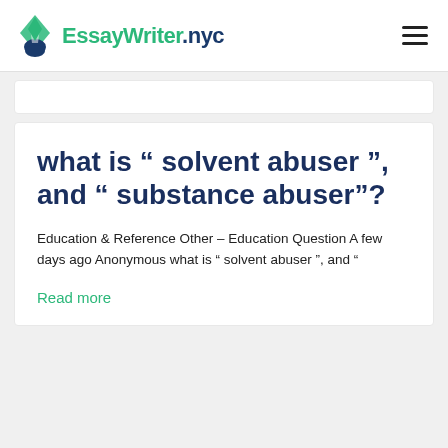EssayWriter.nyc
what is “ solvent abuser ”, and “ substance abuser”?
Education & Reference Other – Education Question A few days ago Anonymous what is “ solvent abuser ”, and “
Read more